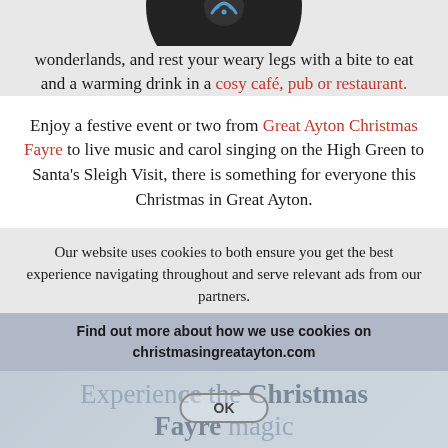[Figure (illustration): Dark circular disc/vinyl record shape with wifi/sound wave icon visible at center, partially cropped at top]
wonderlands, and rest your weary legs with a bite to eat and a warming drink in a cosy café, pub or restaurant.
Enjoy a festive event or two from Great Ayton Christmas Fayre to live music and carol singing on the High Green to Santa's Sleigh Visit, there is something for everyone this Christmas in Great Ayton.
Our website uses cookies to both ensure you get the best experience navigating throughout and serve relevant ads from our partners.
Find out more about how we use cookies on christmasingreatayton.com
Experience the Christmas Fayre magic